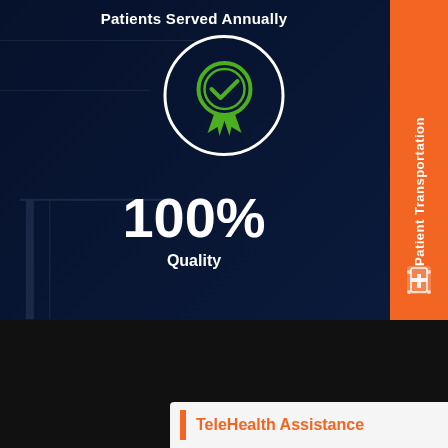Patients Served Annually
[Figure (infographic): Green quality/award badge icon inside a white circle on dark navy background, showing a checkmark medal with ribbon]
100%
Quality
[Figure (infographic): Orange vertical sidebar tab on right edge reading 'Patient Transportation' with hospital cross icon at bottom]
SITEMAP
News
Events
[Figure (infographic): reCAPTCHA privacy widget showing circular arrows icon with 'Privacy · Terms' text]
TeleHealth Assistance